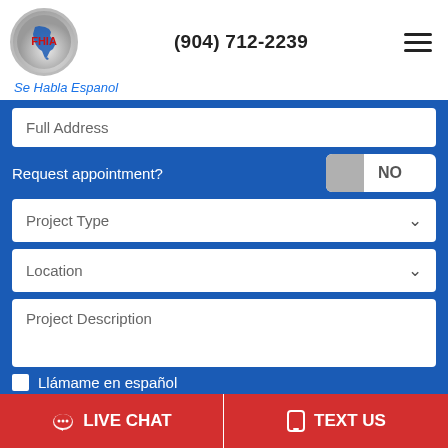[Figure (logo): FHIA logo: circular badge with Florida state outline in blue and red FHIA text]
(904) 712-2239
Se Habla Espanol
Full Address
Request appointment?
NO
Project Type
Location
Project Description
Llámame en español
GET FREE PRICING
LIVE CHAT
TEXT US